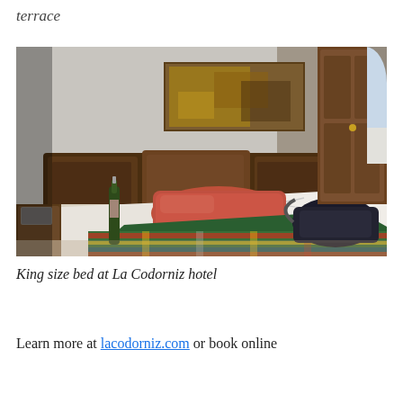terrace
[Figure (photo): Hotel room interior showing a king size bed with wooden headboard, colorful blanket, red pillow, white linens, wall sconce lights, abstract painting on wall, open wooden door leading to a terrace with outdoor view, and luggage on the bed.]
King size bed at La Codorniz hotel
Learn more at lacodorniz.com or book online